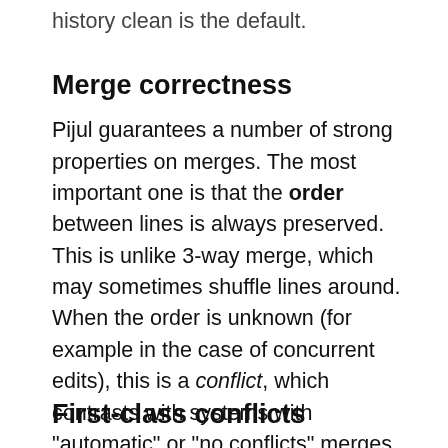history clean is the default.
Merge correctness
Pijul guarantees a number of strong properties on merges. The most important one is that the order between lines is always preserved. This is unlike 3-way merge, which may sometimes shuffle lines around. When the order is unknown (for example in the case of concurrent edits), this is a conflict, which contrasts with systems with "automatic" or "no conflicts" merges.
First-class conflicts